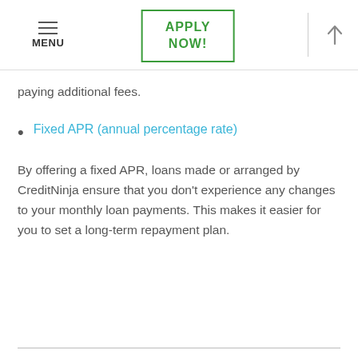MENU | APPLY NOW! | ↑
paying additional fees.
Fixed APR (annual percentage rate)
By offering a fixed APR, loans made or arranged by CreditNinja ensure that you don't experience any changes to your monthly loan payments. This makes it easier for you to set a long-term repayment plan.